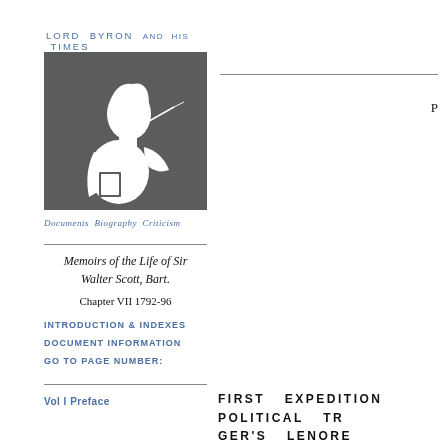LORD BYRON AND HIS TIMES
[Figure (illustration): Silhouette illustration of a man in profile against a dark grey background, possibly Lord Byron]
Documents Biography Criticism
Memoirs of the Life of Sir Walter Scott, Bart.
Chapter VII 1792-96
INTRODUCTION & INDEXES
DOCUMENT INFORMATION
GO TO PAGE NUMBER:
Vol I Preface
FIRST EXPEDITION POLITICAL TR- GER'S LENORE